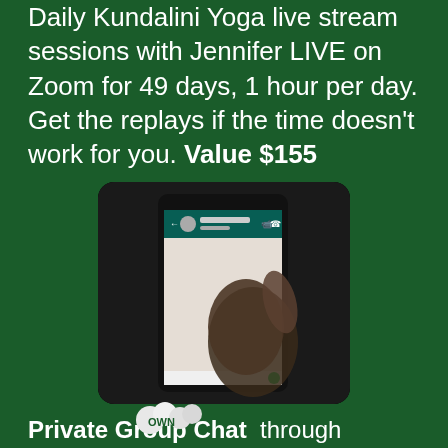Daily Kundalini Yoga live stream sessions with Jennifer LIVE on Zoom for 49 days, 1 hour per day. Get the replays if the time doesn't work for you. Value $155
[Figure (photo): A hand holding a smartphone showing WhatsApp interface on a dark background]
Private Group Chat through WhatsApp software.
[Figure (logo): A logo at the bottom of the page]